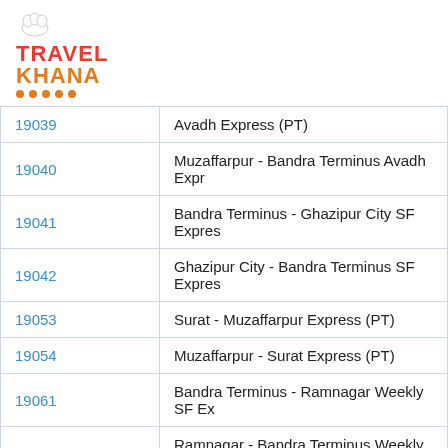[Figure (logo): Travel Khana logo with chef hat icon and orange dots]
| Train No. | Train Name |
| --- | --- |
| 19039 | Avadh Express (PT) |
| 19040 | Muzaffarpur - Bandra Terminus Avadh Expr |
| 19041 | Bandra Terminus - Ghazipur City SF Expres |
| 19042 | Ghazipur City - Bandra Terminus SF Expres |
| 19053 | Surat - Muzaffarpur Express (PT) |
| 19054 | Muzaffarpur - Surat Express (PT) |
| 19061 | Bandra Terminus - Ramnagar Weekly SF Ex |
| 19062 | Ramnagar - Bandra Terminus Weekly SF Ex |
| 19091 | Bandra Terminus - Gorakhpur Humsafar Ex |
| 19092 | Gorakhpur - Bandra Terminus Humsafar Ex |